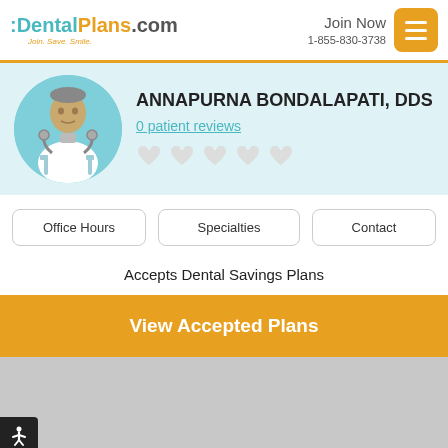:DentalPlans.com Join. Save. Smile. | Join Now 1-855-830-3738
[Figure (illustration): Dentist avatar illustration in teal circle]
ANNAPURNA BONDALAPATI, DDS
0 patient reviews
Accepts Dental Savings Plans
View Accepted Plans